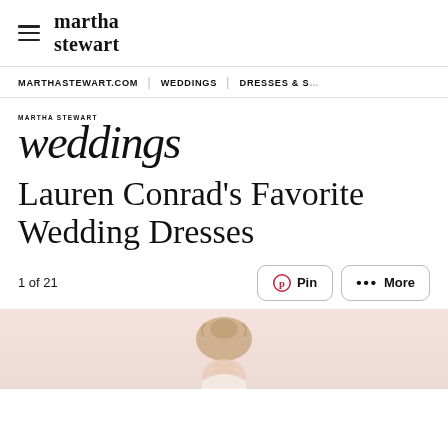martha stewart
MARTHASTEWART.COM | WEDDINGS | DRESSES & S…
[Figure (logo): Martha Stewart Weddings logo — small uppercase 'MARTHA STEWART' above large italic serif 'weddings']
Lauren Conrad's Favorite Wedding Dresses
1 of 21
[Figure (photo): Partial photo of a woman with hair up, wearing a wedding dress, pink/blush background — top of head visible]